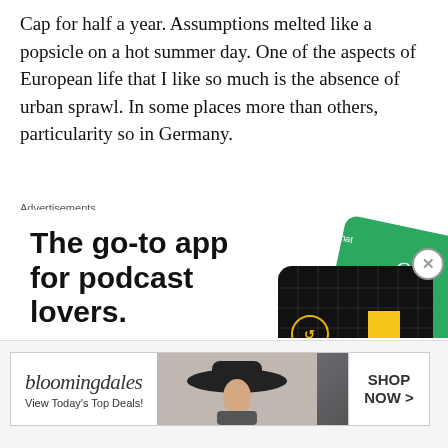Cap for half a year. Assumptions melted like a popsicle on a hot summer day. One of the aspects of European life that I like so much is the absence of urban sprawl. In some places more than others, particularity so in Germany.
Advertisements
[Figure (illustration): Advertisement for 99% Invisible podcast app. Large bold text reads 'The go-to app for podcast lovers.' with a red 'Download now' call-to-action link. Right side shows graphic of 99% Invisible branded app cards/tiles on dark background with yellow square logo.]
Advertisements
[Figure (illustration): Bloomingdale's banner advertisement. Shows Bloomingdale's cursive logo, 'View Today's Top Deals!' text, image of woman in wide-brim hat, and 'SHOP NOW >' button.]